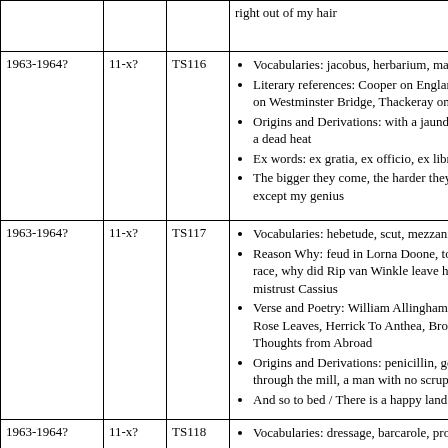| Date | Level | ID | Content |
| --- | --- | --- | --- |
|  |  |  | right out of my hair |
| 1963-1964? | 11-x? | TS116 | Vocabularies: jacobus, herbarium, mavorne...
Literary references: Cooper on England, Sh... on Westminster Bridge, Thackeray on Nap...
Origins and Derivations: with a jaundiced e... a dead heat
Ex words: ex gratia, ex officio, ex libris, ex...
The bigger they come, the harder they fall... except my genius |
| 1963-1964? | 11-x? | TS117 | Vocabularies: hebetude, scut, mezzanine, h...
Reason Why: feud in Lorna Doone, tortoise... race, why did Rip van Winkle leave home,... mistrust Cassius
Verse and Poetry: William Allingham Faeri... Rose Leaves, Herrick To Anthea, Browning... Thoughts from Abroad
Origins and Derivations: penicillin, gout, to... through the mill, a man with no scruples
And so to bed / There is a happy land far fa... |
| 1963-1964? | 11-x? | TS118 | Vocabularies: dressage, barcarole, propone...
Reason Why: Don Quixote tilts at windmil... then dismissed, Jane Eyre finally marries M... Guinevere hie to a nunnery |